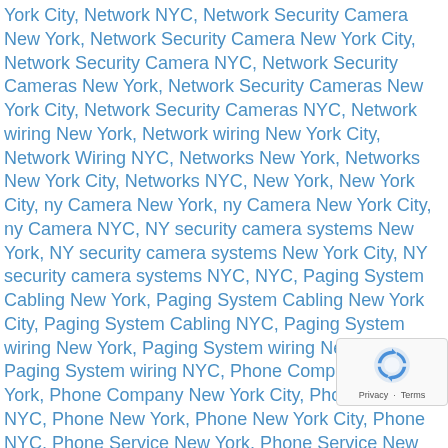York City, Network NYC, Network Security Camera New York, Network Security Camera New York City, Network Security Camera NYC, Network Security Cameras New York, Network Security Cameras New York City, Network Security Cameras NYC, Network wiring New York, Network wiring New York City, Network Wiring NYC, Networks New York, Networks New York City, Networks NYC, New York, New York City, ny Camera New York, ny Camera New York City, ny Camera NYC, NY security camera systems New York, NY security camera systems New York City, NY security camera systems NYC, NYC, Paging System Cabling New York, Paging System Cabling New York City, Paging System Cabling NYC, Paging System wiring New York, Paging System wiring New York City, Paging System wiring NYC, Phone Company New York, Phone Company New York City, Phone Company NYC, Phone New York, Phone New York City, Phone NYC, Phone Service New York, Phone Service New York City, Phone Service NYC, Phone System Installation New York, Phone System Installation New York City, Phone System Installation NYC, Phone Systems New York, Phone Systems New York City, Phone Systems NYC, Plenum Cabling New York, Plenum Cabling New York City, Plenum Cabling NYC, Plenum wiring New York, Plenum wiring New York City, Plenum wiring NYC, Professional Security
[Figure (other): reCAPTCHA badge with logo and Privacy - Terms footer]